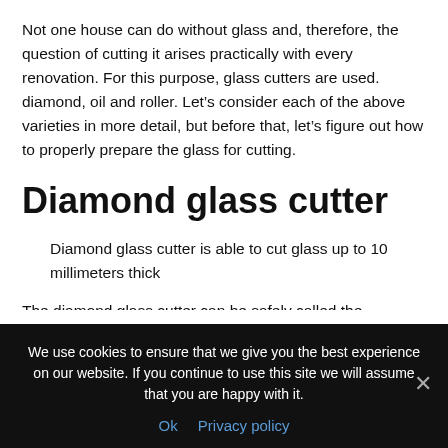Not one house can do without glass and, therefore, the question of cutting it arises practically with every renovation. For this purpose, glass cutters are used. diamond, oil and roller. Let's consider each of the above varieties in more detail, but before that, let's figure out how to properly prepare the glass for cutting.
Diamond glass cutter
Diamond glass cutter is able to cut glass up to 10 millimeters thick
The diamond glass cutter can be safely called the
We use cookies to ensure that we give you the best experience on our website. If you continue to use this site we will assume that you are happy with it.
Ok   Privacy policy